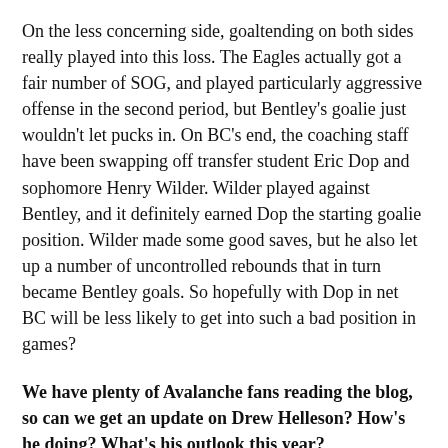On the less concerning side, goaltending on both sides really played into this loss. The Eagles actually got a fair number of SOG, and played particularly aggressive offense in the second period, but Bentley's goalie just wouldn't let pucks in. On BC's end, the coaching staff have been swapping off transfer student Eric Dop and sophomore Henry Wilder. Wilder played against Bentley, and it definitely earned Dop the starting goalie position. Wilder made some good saves, but he also let up a number of uncontrolled rebounds that in turn became Bentley goals. So hopefully with Dop in net BC will be less likely to get into such a bad position in games?
We have plenty of Avalanche fans reading the blog, so can we get an update on Drew Helleson? How's he doing? What's his outlook this year?
Helleson has looked good! He's one of those defenders who you don't always notice if you aren't watching for him because